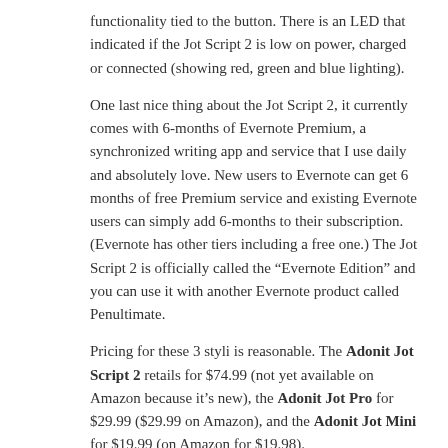functionality tied to the button. There is an LED that indicated if the Jot Script 2 is low on power, charged or connected (showing red, green and blue lighting).
One last nice thing about the Jot Script 2, it currently comes with 6-months of Evernote Premium, a synchronized writing app and service that I use daily and absolutely love. New users to Evernote can get 6 months of free Premium service and existing Evernote users can simply add 6-months to their subscription. (Evernote has other tiers including a free one.) The Jot Script 2 is officially called the “Evernote Edition” and you can use it with another Evernote product called Penultimate.
Pricing for these 3 styli is reasonable. The Adonit Jot Script 2 retails for $74.99 (not yet available on Amazon because it’s new), the Adonit Jot Pro for $29.99 ($29.99 on Amazon), and the Adonit Jot Mini for $19.99 (on Amazon for $19.98).
Disclosure Text: I have a material connection because I